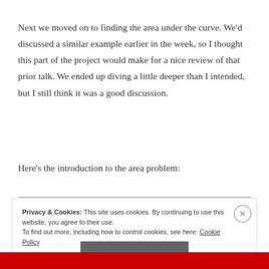Next we moved on to finding the area under the curve. We'd discussed a similar example earlier in the week, so I thought this part of the project would make for a nice review of that prior talk. We ended up diving a little deeper than I intended, but I still think it was a good discussion.
Here's the introduction to the area problem:
Privacy & Cookies: This site uses cookies. By continuing to use this website, you agree to their use.
To find out more, including how to control cookies, see here: Cookie Policy
Close and accept